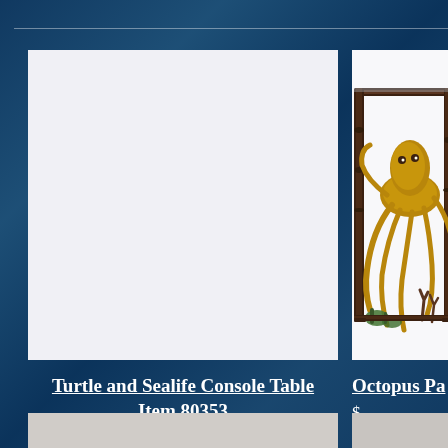[Figure (photo): Left product placeholder — white/light gray rectangular image area for Turtle and Sealife Console Table]
Turtle and Sealife Console Table
Item 80353
$1,395.00
[Figure (photo): Right product photo (partially cropped) — Octopus Panel table with bronze/gold octopus sculpture on dark ornate metal frame, white background]
Octopus Pa...
$...